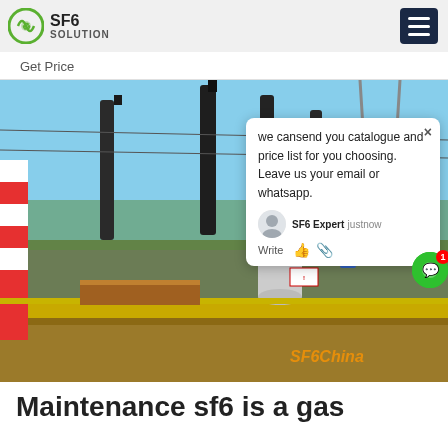SF6 SOLUTION
Get Price
[Figure (photo): Industrial electrical substation with tall dark insulators/bushings, workers in hard hats, cylindrical tanks and equipment, blue sky background. A chat popup overlay reads: we cansend you catalogue and price list for you choosing. Leave us your email or whatsapp. SF6 Expert justnow. Write. SF6China watermark visible at bottom right.]
Maintenance sf6 is a gas